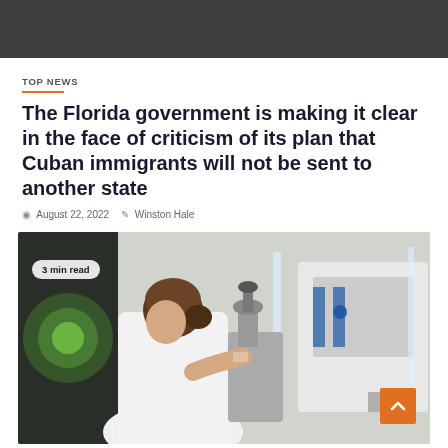[Figure (photo): Dark grey header banner at top of webpage]
TOP NEWS
The Florida government is making it clear in the face of criticism of its plan that Cuban immigrants will not be sent to another state
August 22, 2022   Winston Hale
[Figure (photo): A woman in a white lab coat looking through a microscope in a laboratory setting, with a computer screen showing microscopy images on the left and laboratory equipment on the right. A '3 min read' badge is overlaid on the image.]